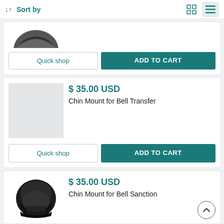↓↑ Sort by
[Figure (screenshot): Partially visible product image (dark helmet mount) at top of page]
Quick shop
ADD TO CART
$ 35.00 USD
Chin Mount for Bell Transfer
Quick shop
ADD TO CART
$ 35.00 USD
Chin Mount for Bell Sanction